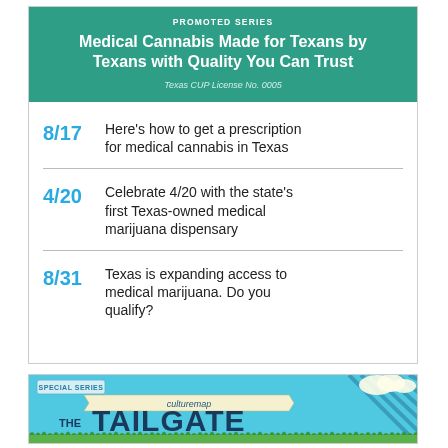PROMOTED SERIES
Medical Cannabis Made for Texans by Texans with Quality You Can Trust
Texas CUP License No. 0005
8/17  Here's how to get a prescription for medical cannabis in Texas
4/20  Celebrate 4/20 with the state's first Texas-owned medical marijuana dispensary
8/31  Texas is expanding access to medical marijuana. Do you qualify?
[Figure (illustration): CultureMap The Tailgate – Celebrating the culture of sports banner with blue sky background, clouds, grass, and diagonal stripe design.]